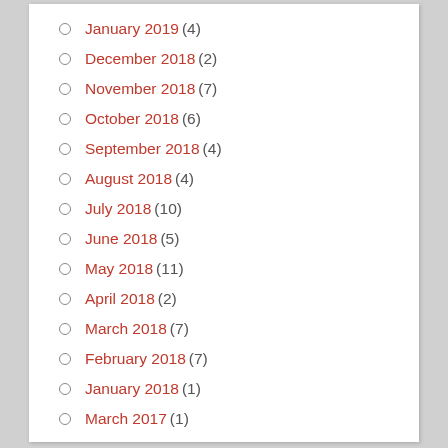January 2019 (4)
December 2018 (2)
November 2018 (7)
October 2018 (6)
September 2018 (4)
August 2018 (4)
July 2018 (10)
June 2018 (5)
May 2018 (11)
April 2018 (2)
March 2018 (7)
February 2018 (7)
January 2018 (1)
March 2017 (1)